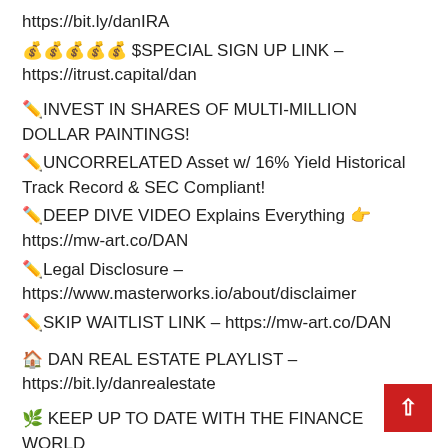https://bit.ly/danIRA
💰💰💰💰💰 $SPECIAL SIGN UP LINK – https://itrust.capital/dan
✏️INVEST IN SHARES OF MULTI-MILLION DOLLAR PAINTINGS!
✏️UNCORRELATED Asset w/ 16% Yield Historical Track Record & SEC Compliant!
✏️DEEP DIVE VIDEO Explains Everything 👉 https://mw-art.co/DAN
✏️Legal Disclosure – https://www.masterworks.io/about/disclaimer
✏️SKIP WAITLIST LINK – https://mw-art.co/DAN
🏠 DAN REAL ESTATE PLAYLIST – https://bit.ly/danrealestate
🌿 KEEP UP TO DATE WITH THE FINANCE WORLD